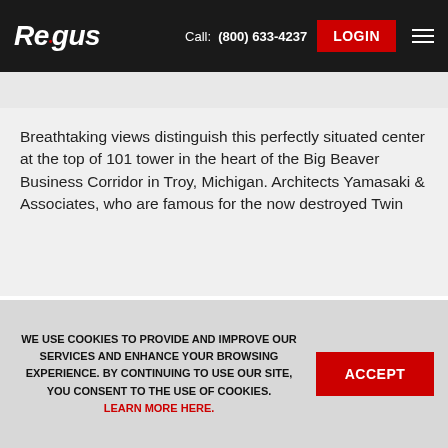Regus | Call: (800) 633-4237 | LOGIN
Breathtaking views distinguish this perfectly situated center at the top of 101 tower in the heart of the Big Beaver Business Corridor in Troy, Michigan. Architects Yamasaki & Associates, who are famous for the now destroyed Twin
INQUIRE
ARRANGE VISIT
WE USE COOKIES TO PROVIDE AND IMPROVE OUR SERVICES AND ENHANCE YOUR BROWSING EXPERIENCE. BY CONTINUING TO USE OUR SITE, YOU CONSENT TO THE USE OF COOKIES. LEARN MORE HERE.